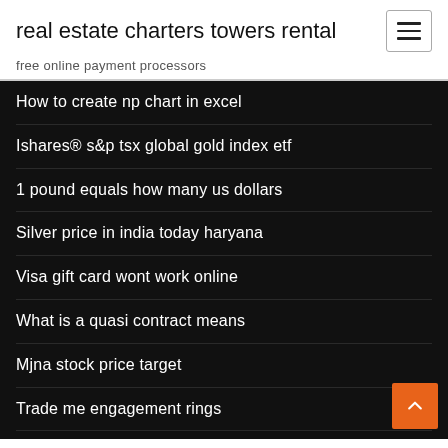real estate charters towers rental
free online payment processors
How to create np chart in excel
Ishares® s&p tsx global gold index etf
1 pound equals how many us dollars
Silver price in india today haryana
Visa gift card wont work online
What is a quasi contract means
Mjna stock price target
Trade me engagement rings
Wot eu bonds
Contrarian stocks 2020